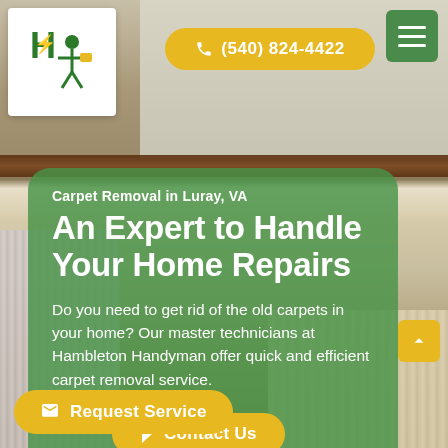[Figure (screenshot): Hambleton Handyman website screenshot showing carpet removal service page with logo, phone number, navigation, hero section with green overlay card, contact button, and request service button]
(540) 824-4422
An Expert to Handle Your Home Repairs
Carpet Removal in Luray, VA
Do you need to get rid of the old carpets in your home? Our master technicians at Hambleton Handyman offer quick and efficient carpet removal service.